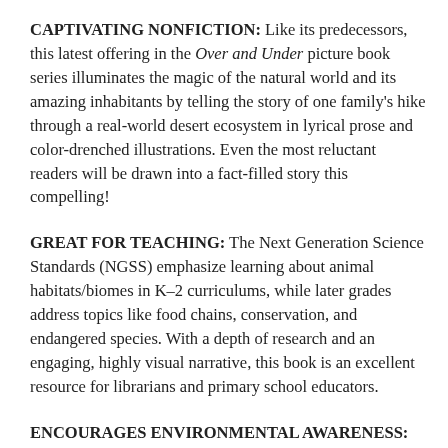CAPTIVATING NONFICTION: Like its predecessors, this latest offering in the Over and Under picture book series illuminates the magic of the natural world and its amazing inhabitants by telling the story of one family's hike through a real-world desert ecosystem in lyrical prose and color-drenched illustrations. Even the most reluctant readers will be drawn into a fact-filled story this compelling!
GREAT FOR TEACHING: The Next Generation Science Standards (NGSS) emphasize learning about animal habitats/biomes in K–2 curriculums, while later grades address topics like food chains, conservation, and endangered species. With a depth of research and an engaging, highly visual narrative, this book is an excellent resource for librarians and primary school educators.
ENCOURAGES ENVIRONMENTAL AWARENESS: Concern for and preservation of the wilderness is an increasingly talked-about topic. This book provides a great, upbeat jumping-off